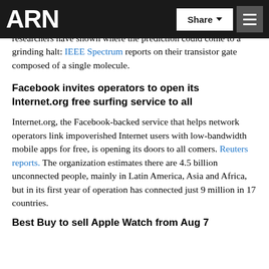ARN
number of transistors on a chip will double, for decades, but recent movements suggest things may be slowing. Now German researchers have shown where the prediction could come to a grinding halt: IEEE Spectrum reports on their transistor gate composed of a single molecule.
Facebook invites operators to open its Internet.org free surfing service to all
Internet.org, the Facebook-backed service that helps network operators link impoverished Internet users with low-bandwidth mobile apps for free, is opening its doors to all comers. Reuters reports. The organization estimates there are 4.5 billion unconnected people, mainly in Latin America, Asia and Africa, but in its first year of operation has connected just 9 million in 17 countries.
Best Buy to sell Apple Watch from Aug 7